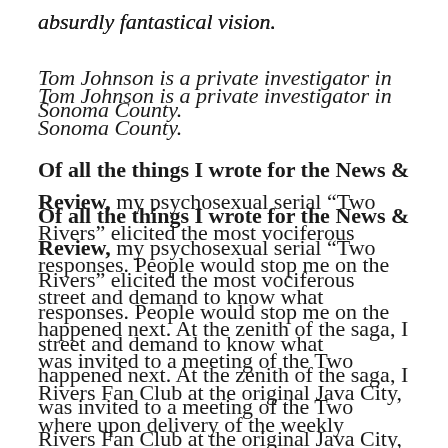absurdly fantastical vision.
Tom Johnson is a private investigator in Sonoma County.
Of all the things I wrote for the News & Review, my psychosexual serial “Two Rivers” elicited the most vociferous responses. People would stop me on the street and demand to know what happened next. At the zenith of the saga, I was invited to a meeting of the Two Rivers Fan Club at the original Java City, where upon delivery of the weekly